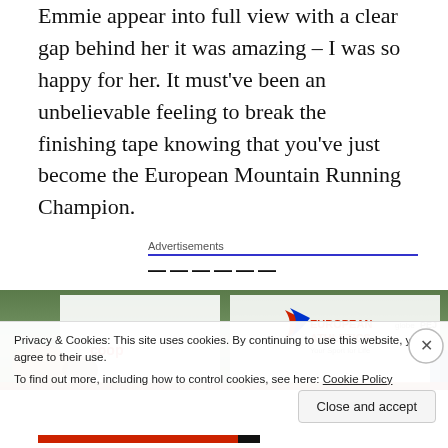Emmie appear into full view with a clear gap behind her it was amazing – I was so happy for her. It must've been an unbelievable feeling to break the finishing tape knowing that you've just become the European Mountain Running Champion.
Advertisements
[Figure (photo): Photo of European Athletics event banner/backdrop with logos including European Athletics 'Your Sport for Life', COOP, and other sponsor logos. People visible in foreground.]
Privacy & Cookies: This site uses cookies. By continuing to use this website, you agree to their use.
To find out more, including how to control cookies, see here: Cookie Policy
Close and accept